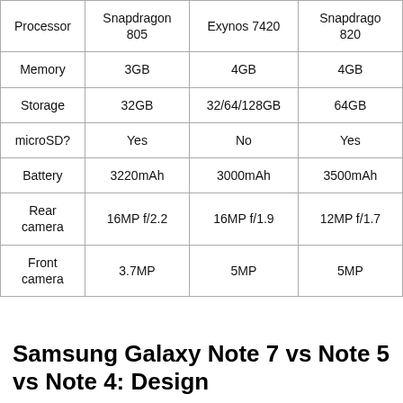|  | Col1 | Col2 | Col3 |
| --- | --- | --- | --- |
| Processor | Snapdragon 805 | Exynos 7420 | Snapdragon 820 |
| Memory | 3GB | 4GB | 4GB |
| Storage | 32GB | 32/64/128GB | 64GB |
| microSD? | Yes | No | Yes |
| Battery | 3220mAh | 3000mAh | 3500mAh |
| Rear camera | 16MP f/2.2 | 16MP f/1.9 | 12MP f/1.7 |
| Front camera | 3.7MP | 5MP | 5MP |
Samsung Galaxy Note 7 vs Note 5 vs Note 4: Design